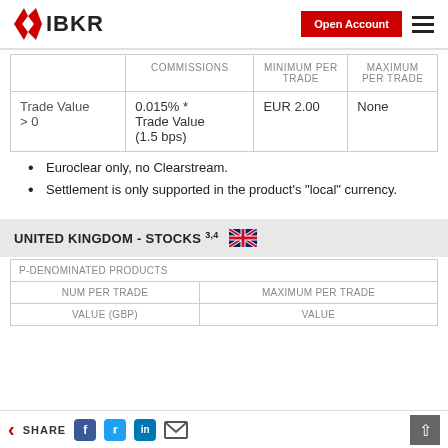IBKR - Open Account
|  | COMMISSIONS | MINIMUM PER TRADE | MAXIMUM PER TRADE |
| --- | --- | --- | --- |
| Trade Value > 0 | 0.015% * Trade Value (1.5 bps) | EUR 2.00 | None |
Euroclear only, no Clearstream.
Settlement is only supported in the product's "local" currency.
UNITED KINGDOM - STOCKS 3,4
| VALUE (GBP) | VALUE | MINIMUM PER TRADE | MAXIMUM PER TRADE |
| --- | --- | --- | --- |
SHARE